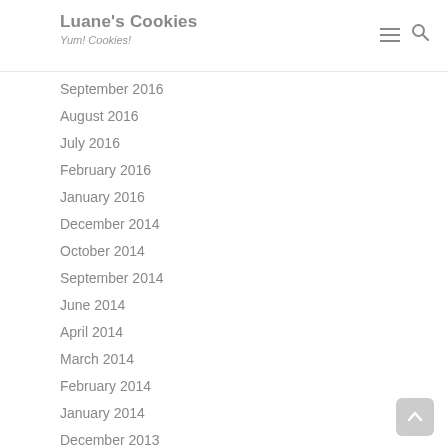Luane's Cookies — Yum! Cookies!
September 2016
August 2016
July 2016
February 2016
January 2016
December 2014
October 2014
September 2014
June 2014
April 2014
March 2014
February 2014
January 2014
December 2013
November 2013
October 2013
September 2013
July 2013
June 2013